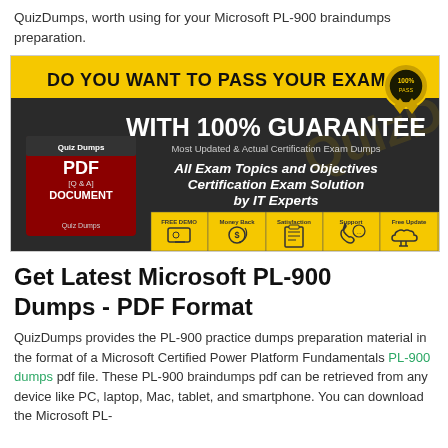QuizDumps, worth using for your Microsoft PL-900 braindumps preparation.
[Figure (illustration): QuizDumps promotional banner with yellow/black header 'DO YOU WANT TO PASS YOUR EXAM?' and '100% Guarantee' text, showing PDF document box, exam topics, and icons for Free Demo, Money Back, Satisfaction, Support, Free Update.]
Get Latest Microsoft PL-900 Dumps - PDF Format
QuizDumps provides the PL-900 practice dumps preparation material in the format of a Microsoft Certified Power Platform Fundamentals PL-900 dumps pdf file. These PL-900 braindumps pdf can be retrieved from any device like PC, laptop, Mac, tablet, and smartphone. You can download the Microsoft PL-